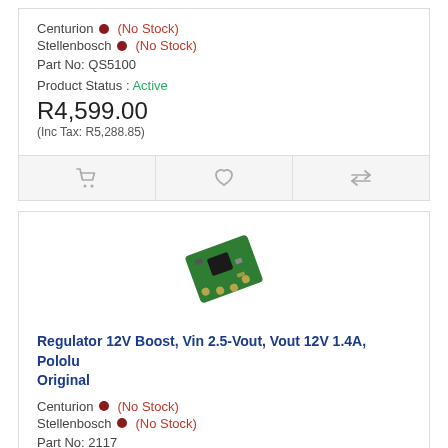Centurion ● (No Stock)
Stellenbosch ● (No Stock)
Part No: QS5100
Product Status : Active
R4,599.00
(Inc Tax: R5,288.85)
[Figure (photo): Small green PCB boost regulator module, Pololu brand]
Regulator 12V Boost, Vin 2.5-Vout, Vout 12V 1.4A, Pololu Original
Centurion ● (No Stock)
Stellenbosch ● (No Stock)
Part No: 2117
Product Status : Active
R79.00